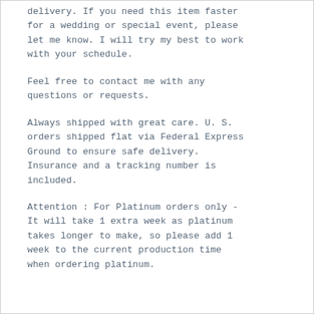delivery. If you need this item faster for a wedding or special event, please let me know. I will try my best to work with your schedule.
Feel free to contact me with any questions or requests.
Always shipped with great care. U. S. orders shipped flat via Federal Express Ground to ensure safe delivery. Insurance and a tracking number is included.
Attention : For Platinum orders only - It will take 1 extra week as platinum takes longer to make, so please add 1 week to the current production time when ordering platinum.